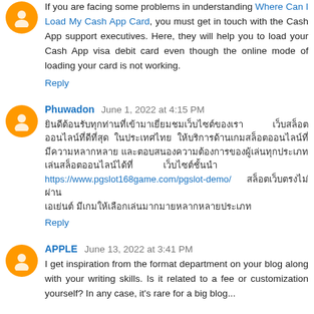If you are facing some problems in understanding Where Can I Load My Cash App Card, you must get in touch with the Cash App support executives. Here, they will help you to load your Cash App visa debit card even though the online mode of loading your card is not working.
Reply
Phuwadon  June 1, 2022 at 4:15 PM
[Thai text] https://www.pgslot168game.com/pgslot-demo/ [Thai text continued]
Reply
APPLE  June 13, 2022 at 3:41 PM
I get inspiration from the format department on your blog along with your writing skills. Is it related to a fee or customization yourself? In any case, it's rare for a big blog...